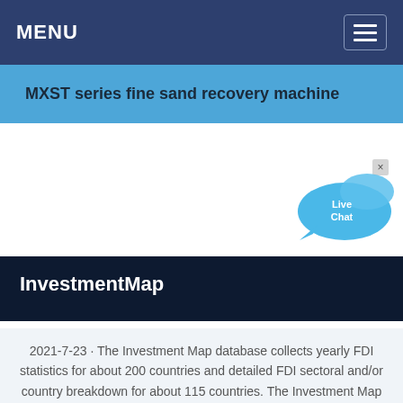MENU
MXST series fine sand recovery machine
[Figure (illustration): Live Chat bubble icon with speech bubble graphic in blue tones and an 'x' close button]
InvestmentMap
2021-7-23 · The Investment Map database collects yearly FDI statistics for about 200 countries and detailed FDI sectoral and/or country breakdown for about 115 countries. The Investment Map helps Investment Promotion Agencies identify priority sectors and competing countries for foreign…